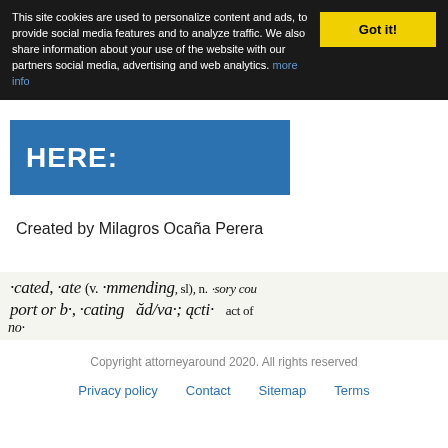This site cookies are used to personalize content and ads, to provide social media features and to analyze traffic. We also share information about your use of the website with our partners social media, advertising and web analytics. more info
[Figure (screenshot): Blue banner with white bold text reading 'HERE:']
Created by Milagros Ocaña Perera
[Figure (photo): Close-up photo of dictionary text showing partial words: cated, -ate (v., port or b-, -cating, mmending, sl), n., ad/va-, acti-, sory cou, act of]
Copyright attorneyaround 2020. All rights reserved
Privacy policy   Contact   Sitemap   Terms